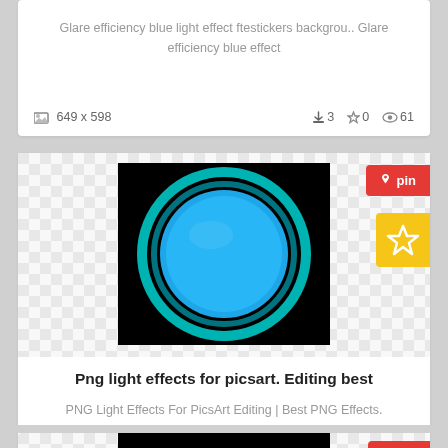Glare efficiency blue light effect ftestickers backgrou.. Glare efficiency blue effect
649 x 598  ⬇3  ☆0  👁61
[Figure (illustration): Cyan/blue glowing circle on black background, centered on a checker transparency pattern. Red pin button top right. Yellow star button right side.]
Png light effects for picsart. Editing best
PNG Light Effects For PicsArt Editing | Best PNG Effects. Editing best
600 x 600  ⬇17  ☆0  👁298
[Figure (illustration): Partial view of another image card with checker background and black image area, red pin button visible.]